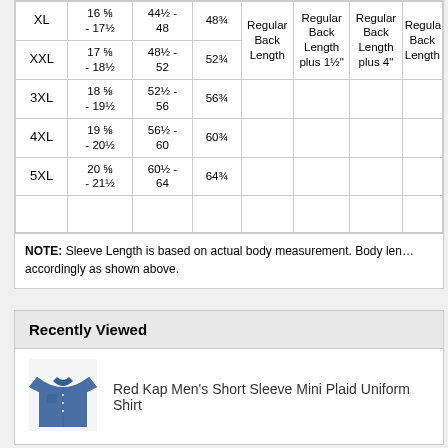| Size | Neck | Chest | Sleeve | Regular Back Length | Regular Back Length plus 1½" | Regular Back Length plus 4" | Regular Back Length |
| --- | --- | --- | --- | --- | --- | --- | --- |
| XL | 16 ⅝ - 17½ | 44½ - 48 | 48¾ | Regular Back Length | Regular Back Length plus 1½" | Regular Back Length plus 4" | Regular Back Length |
| XXL | 17 ⅝ - 18½ | 48½ - 52 | 52¾ |  |  |  |  |
| 3XL | 18 ⅝ - 19½ | 52½ - 56 | 56¾ |  |  |  |  |
| 4XL | 19 ⅝ - 20½ | 56½ - 60 | 60¾ |  |  |  |  |
| 5XL | 20 ⅝ - 21½ | 60½ - 64 | 64¾ |  |  |  |  |
|  |  |  |  |  |  |  |  |
NOTE: Sleeve Length is based on actual body measurement. Body length adjusts accordingly as shown above.
Recently Viewed
[Figure (photo): Blue short sleeve uniform shirt product photo]
Red Kap Men's Short Sleeve Mini Plaid Uniform Shirt